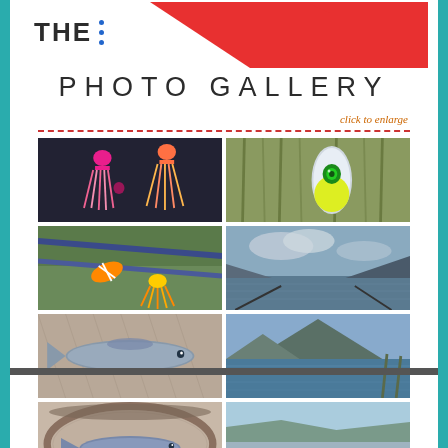[Figure (illustration): Red triangle/mountain shape logo at top with 'THE' text and blue dots]
PHOTO GALLERY
click to enlarge
[Figure (photo): Fishing lures - pink and orange squid-style lures on dark background]
[Figure (photo): Fishing float/bobber with green eye pattern among reeds]
[Figure (photo): Fishing lures/spinners with colorful orange and white stripes on fishing rods]
[Figure (photo): Lake or reservoir scenic view with clouds and hills]
[Figure (photo): Fish lying in a net/landing net]
[Figure (photo): Lake scenic view with hills in background]
[Figure (photo): Fish in a landing/keepnet]
[Figure (photo): Boat or dock area at water's edge with hills]